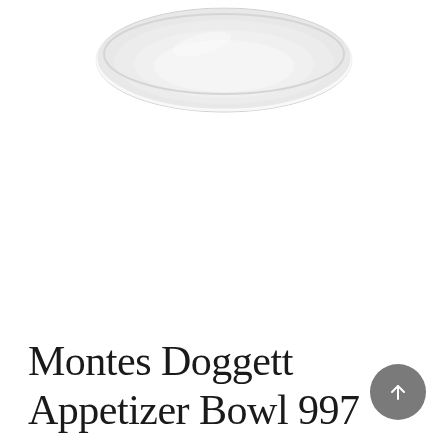[Figure (photo): Product photo of a ceramic appetizer bowl, light grey/white color, viewed from slightly above, on a white background. Only the top portion of the bowl is visible at the top of the page.]
Montes Doggett Appetizer Bowl 997